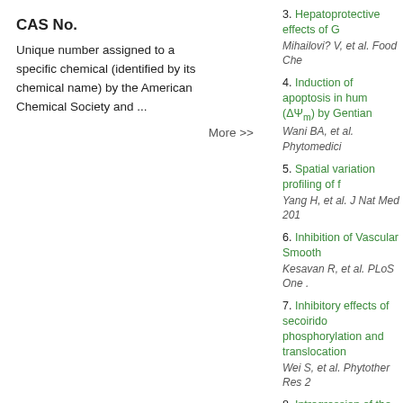CAS No.
Unique number assigned to a specific chemical (identified by its chemical name) by the American Chemical Society and ...
More >>
3. Hepatoprotective effects of G... Mihailovi? V, et al. Food Che...
4. Induction of apoptosis in hum... (ΔΨ<sub>m</sub>) by Gentian... Wani BA, et al. Phytomedici...
5. Spatial variation profiling of f... Yang H, et al. J Nat Med 201...
6. Inhibition of Vascular Smooth... Kesavan R, et al. PLoS One ...
7. Inhibitory effects of secoirido... phosphorylation and translocation... Wei S, et al. Phytother Res 2...
8. Introgression of the heterolog... scorzonerifolium Willd. via soma... Jiang L, et al. Protoplasma 20...
9. Genetic and biochemical cha... paludosa. Yu Y, et al. Protoplasma 2012...
10. Beneficial effects of swertia... Vaidya H, et al. Phytother Re...